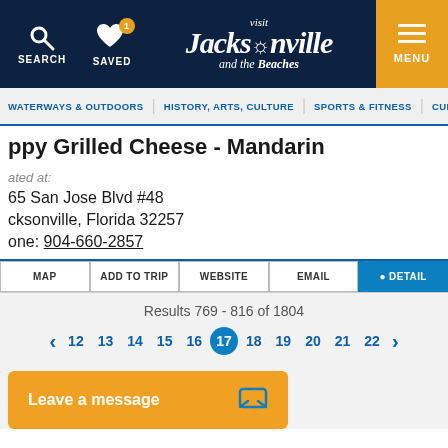Visit Jacksonville and the Beaches – SEARCH | SAVED | MENU
WATERWAYS & OUTDOORS | HISTORY, ARTS, CULTURE | SPORTS & FITNESS | CULINARY/BREWERIES
ppy Grilled Cheese - Mandarin
ated at:
65 San Jose Blvd #48
cksonville, Florida 32257
one: 904-660-2857
MAP | ADD TO TRIP | WEBSITE | EMAIL | : DETAIL
Results 769 - 816 of 1804
12  13  14  15  16  17  18  19  20  21  22
Leave a message